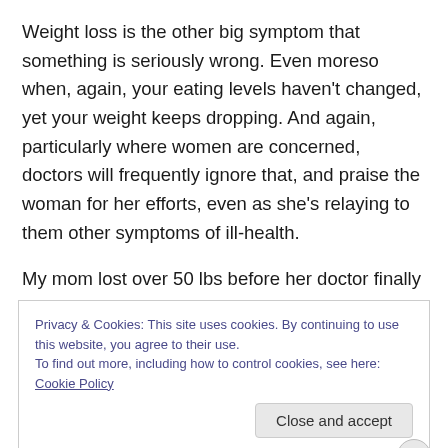Weight loss is the other big symptom that something is seriously wrong. Even moreso when, again, your eating levels haven't changed, yet your weight keeps dropping. And again, particularly where women are concerned, doctors will frequently ignore that, and praise the woman for her efforts, even as she's relaying to them other symptoms of ill-health.
My mom lost over 50 lbs before her doctor finally tested her thyroid levels, and HOLY SHIT!! They were off the chart
Privacy & Cookies: This site uses cookies. By continuing to use this website, you agree to their use.
To find out more, including how to control cookies, see here: Cookie Policy